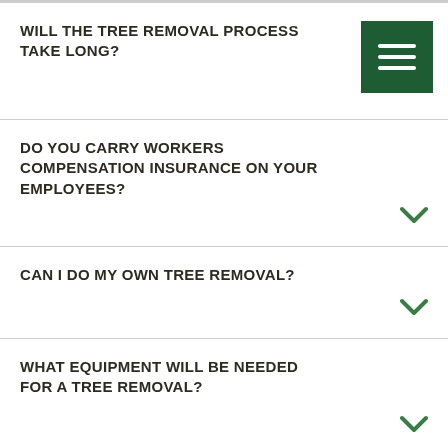WILL THE TREE REMOVAL PROCESS TAKE LONG?
DO YOU CARRY WORKERS COMPENSATION INSURANCE ON YOUR EMPLOYEES?
CAN I DO MY OWN TREE REMOVAL?
WHAT EQUIPMENT WILL BE NEEDED FOR A TREE REMOVAL?
CAN YOU PROVIDE REFERENCES OF YOUR WORK?